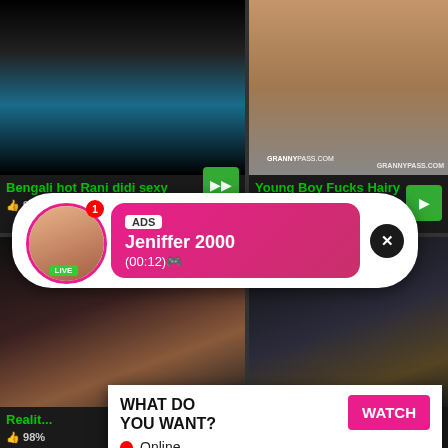[Figure (screenshot): Adult video thumbnail - left top, person in shower blue hair]
[Figure (screenshot): Adult video thumbnail - right top, GRANNYPASS.COM watermark]
Bengali hot Rani didi sexy
👍 94%  👁 24 951  🕐 2:00
Young Boy Fucks Hairy
👍 97%  👁 875 850
[Figure (screenshot): Adult video thumbnail row 2 left]
[Figure (screenshot): Adult video thumbnail row 2 right]
Realit... 98%
[Figure (infographic): Ad overlay: LIVE badge, avatar, ADS label, Jeniffer 2000, (00:12)]
[Figure (infographic): Ad overlay bottom: WHAT DO YOU WANT? WATCH button, Online, mini thumbnails, Cumming, ass fucking, squirt or... • ADS]